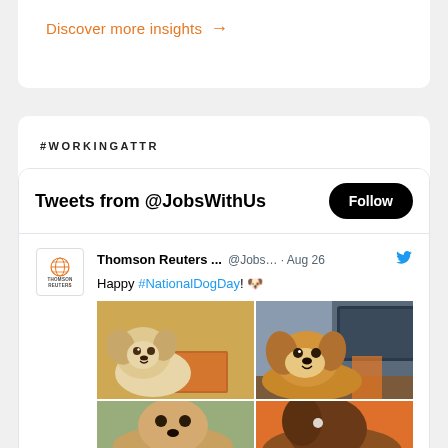Discover more insights →
#WORKINGATTR
Tweets from @JobsWithUs
Follow
Thomson Reuters ... @Jobs... · Aug 26
Happy #NationalDogDay! 🐶
[Figure (photo): Two dog photos side by side: left shows a small fluffy puppy near a yellow cloth and notebook, right shows a golden-brown dog at a desk near a computer monitor. Below are two more partially visible dog photos.]